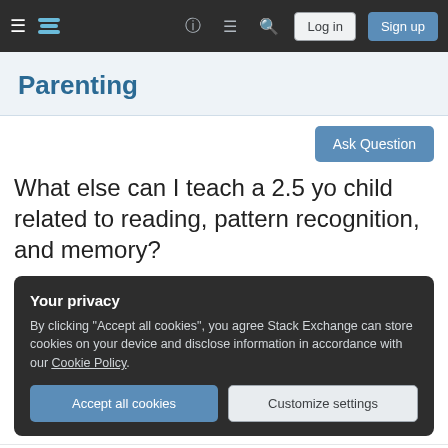≡  [Stack Exchange logo]  ?  ≡  🔍  Log in  Sign up
Parenting
Ask Question
What else can I teach a 2.5 yo child related to reading, pattern recognition, and memory?
Your privacy
By clicking "Accept all cookies", you agree Stack Exchange can store cookies on your device and disclose information in accordance with our Cookie Policy.
[Accept all cookies] [Customize settings]
written words), numbers to 10, common shapes,